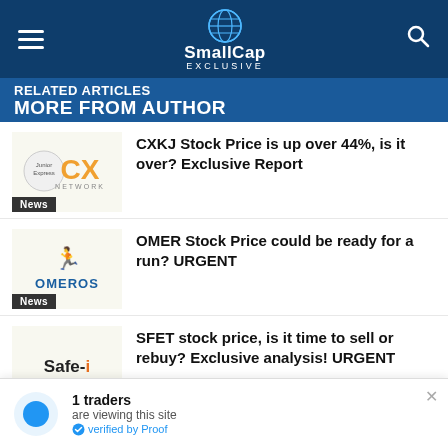SmallCap EXCLUSIVE
RELATED ARTICLES MORE FROM AUTHOR
CXKJ Stock Price is up over 44%, is it over? Exclusive Report — News
OMER Stock Price could be ready for a run? URGENT — News
SFET stock price, is it time to sell or rebuy? Exclusive analysis! URGENT — News
1 traders are viewing this site verified by Proof